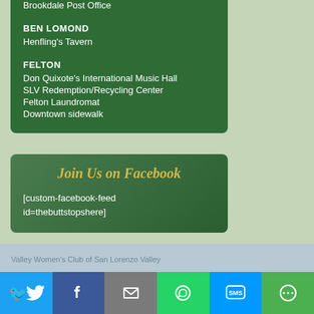Brookdale Post Office
BEN LOMOND
Henfling's Tavern
FELTON
Don Quixote's International Music Hall
SLV Redemption/Recycling Center
Felton Laundromat
Downtown sidewalk
Join Us on Facebook
[custom-facebook-feed id=thebuttstopshere]
Valley Women's Club of San Lorenzo Valley